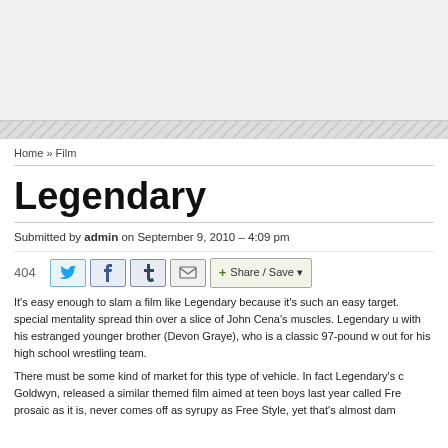Home » Film
Legendary
Submitted by admin on September 9, 2010 – 4:09 pm
[Figure (screenshot): Social sharing buttons: Twitter, Facebook, Tumblr, Email, and Share/Save button. A 404 image placeholder is shown to the left.]
It's easy enough to slam a film like Legendary because it's such an easy target. special mentality spread thin over a slice of John Cena's muscles. Legendary u with his estranged younger brother (Devon Graye), who is a classic 97-pound w out for his high school wrestling team.
There must be some kind of market for this type of vehicle. In fact Legendary's c Goldwyn, released a similar themed film aimed at teen boys last year called Fre prosaic as it is, never comes off as syrupy as Free Style, yet that's almost dam